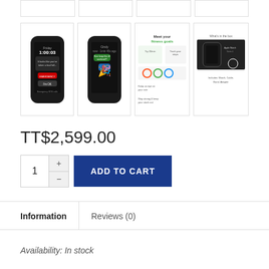[Figure (screenshot): Top row of product thumbnail images (partially visible, cropped at top)]
[Figure (screenshot): Four product thumbnail images of Apple Watch: dark watch showing emergency SOS screen, dark watch showing messages, colorful info graphic showing fitness/health features, and product box image]
TT$2,599.00
[Figure (screenshot): Quantity selector showing 1 with plus/minus buttons, and blue ADD TO CART button]
Information
Reviews (0)
Availability:  In stock